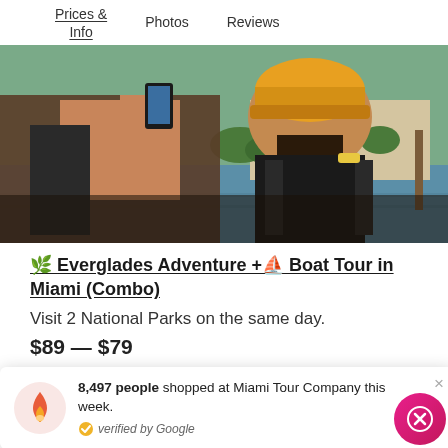Prices & Info    Photos    Reviews
[Figure (photo): Two people from behind, one taking a photo with a smartphone, the other wearing an orange/yellow cap and backpack, standing near waterway with building and palm trees in background]
🌿 Everglades Adventure +⛵ Boat Tour in Miami (Combo)
Visit 2 National Parks on the same day.
$89 — $79
8,497 people shopped at Miami Tour Company this week. verified by Google